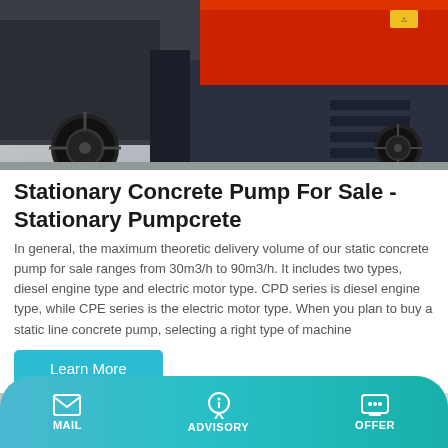[Figure (photo): Photo of a stationary concrete pump machine on a trailer/truck, showing heavy equipment with black tires, dark blue/grey frame, red top section, and step platforms. Industrial setting with concrete floor.]
Stationary Concrete Pump For Sale - Stationary Pumpcrete
In general, the maximum theoretic delivery volume of our static concrete pump for sale ranges from 30m3/h to 90m3/h. It includes two types, diesel engine type and electric motor type. CPD series is diesel engine type, while CPE series is the electric motor type. When you plan to buy a static line concrete pump, selecting a right type of machine
Learn More
[Figure (photo): Partial photo of another concrete pump machine, appears to be light grey/silver color, partially visible at bottom of page.]
MAIL   ADVISORY   OFFER